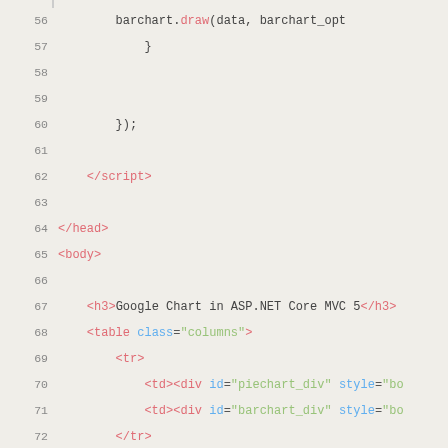[Figure (screenshot): Code editor screenshot showing HTML/JavaScript source code lines 56-76 with syntax highlighting. Lines show closing brace, script tag, head tag, body tag, h3 heading, table structure, and closing html tag.]